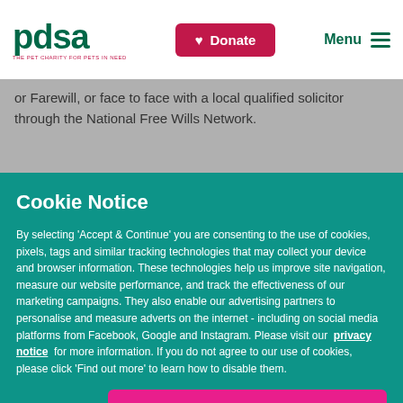pdsa — THE PET CHARITY FOR PETS IN NEED
or Farewill, or face to face with a local qualified solicitor through the National Free Wills Network.
Cookie Notice
By selecting 'Accept & Continue' you are consenting to the use of cookies, pixels, tags and similar tracking technologies that may collect your device and browser information. These technologies help us improve site navigation, measure our website performance, and track the effectiveness of our marketing campaigns. They also enable our advertising partners to personalise and measure adverts on the internet - including on social media platforms from Facebook, Google and Instagram. Please visit our privacy notice for more information. If you do not agree to our use of cookies, please click 'Find out more' to learn how to disable them.
Find Out More
Accept All & Continue